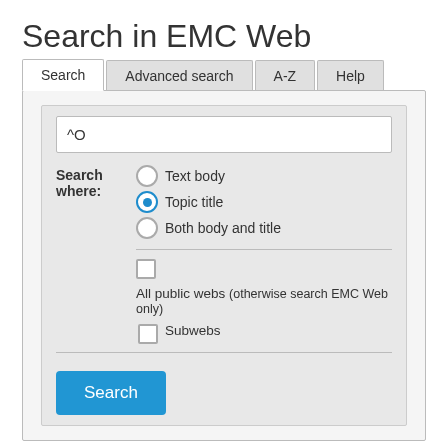Search in EMC Web
[Figure (screenshot): Web search interface with tabs (Search, Advanced search, A-Z, Help), a search input field containing '^O', radio buttons for Text body / Topic title / Both body and title, checkboxes for All public webs and Subwebs, and a Search button]
Search results